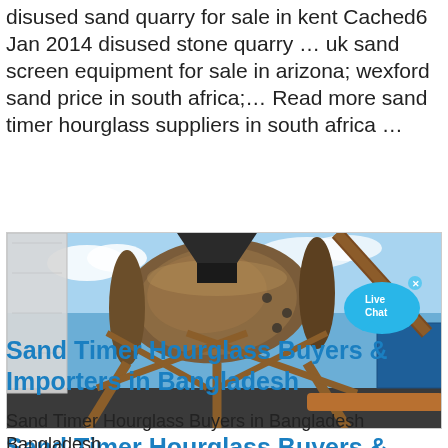disused sand quarry for sale in kent Cached6 Jan 2014 disused stone quarry … uk sand screen equipment for sale in arizona; wexford sand price in south africa;... Read more sand timer hourglass suppliers in south africa …
[Figure (photo): Industrial rotary drum or sand processing equipment on a metal frame stand, outdoors against a blue sky. A 'Live Chat' bubble is visible in the upper right corner of the image.]
Sand Timer Hourglass Buyers & Importers in Bangladesh
Sand Timer Hourglass Buyers in Bangladesh Bangladesh